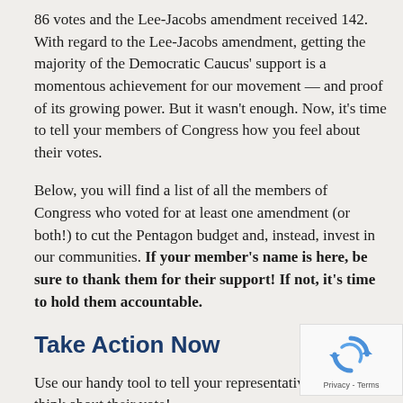86 votes and the Lee-Jacobs amendment received 142. With regard to the Lee-Jacobs amendment, getting the majority of the Democratic Caucus' support is a momentous achievement for our movement — and proof of its growing power. But it wasn't enough. Now, it's time to tell your members of Congress how you feel about their votes.
Below, you will find a list of all the members of Congress who voted for at least one amendment (or both!) to cut the Pentagon budget and, instead, invest in our communities. If your member's name is here, be sure to thank them for their support! If not, it's time to hold them accountable.
Take Action Now
Use our handy tool to tell your representative what y think about their vote!
[Figure (other): reCAPTCHA widget with circular arrow icon and 'Privacy - Terms' text]